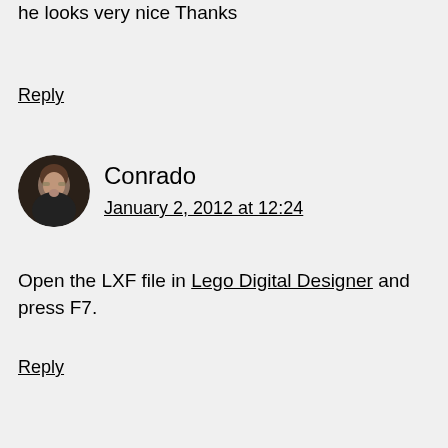he looks very nice Thanks
Reply
[Figure (photo): Circular avatar photo of Conrado, a man with dark hair, glasses, hand on chin in thoughtful pose]
Conrado
January 2, 2012 at 12:24
Open the LXF file in Lego Digital Designer and press F7.
Reply